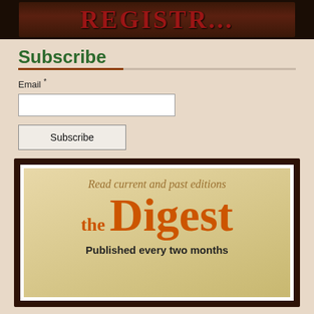[Figure (photo): Partial photo showing a sign with large red letters spelling REGISTR (truncated), dark background]
Subscribe
Email *
Subscribe
[Figure (illustration): Framed advertisement for 'the Digest' newsletter with script text 'Read current and past editions', large orange text 'the Digest', and subtitle 'Published every two months']